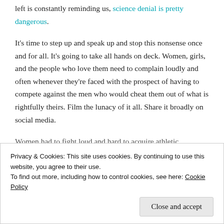left is constantly reminding us, science denial is pretty dangerous.
It's time to step up and speak up and stop this nonsense once and for all. It's going to take all hands on deck. Women, girls, and the people who love them need to complain loudly and often whenever they're faced with the prospect of having to compete against the men who would cheat them out of what is rightfully theirs. Film the lunacy of it all. Share it broadly on social media.
Women had to fight loud and hard to acquire athletic
Privacy & Cookies: This site uses cookies. By continuing to use this website, you agree to their use. To find out more, including how to control cookies, see here: Cookie Policy